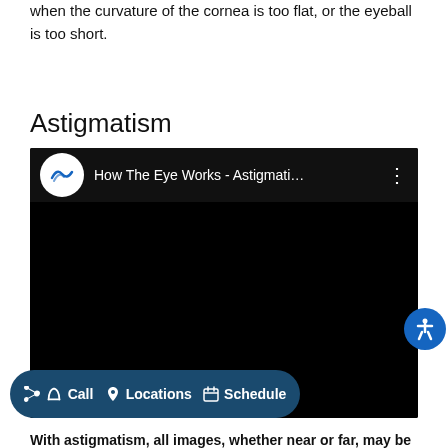when the curvature of the cornea is too flat, or the eyeball is too short.
Astigmatism
[Figure (screenshot): YouTube-style embedded video player with black background. Video title reads 'How The Eye Works - Astigmati…' with a channel logo (circular white logo with blue wave/bird icon) on the left and a three-dot menu on the right.]
With astigmatism, all images, whether near or far, may be